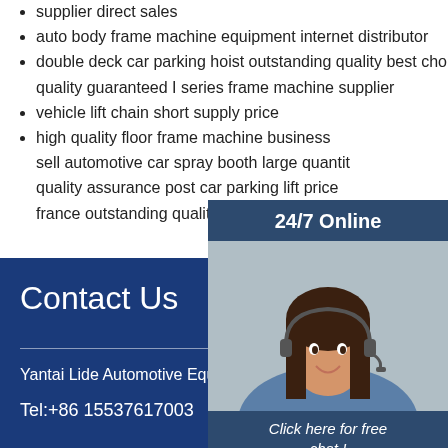supplier direct sales
auto body frame machine equipment internet distributor
double deck car parking hoist outstanding quality best choice
quality guaranteed I series frame machine supplier
vehicle lift chain short supply price
high quality floor frame machine business
sell automotive car spray booth large quantit
quality assurance post car parking lift price
france outstanding quality hydraulic vehicle li
[Figure (photo): Customer service woman wearing headset, smiling, with 24/7 Online chat widget overlay]
Click here for free chat !
QUOTATION
Contact Us
Yantai Lide Automotive Equipment Manufacturing Co., Ltd.
Tel:+86 15537617003